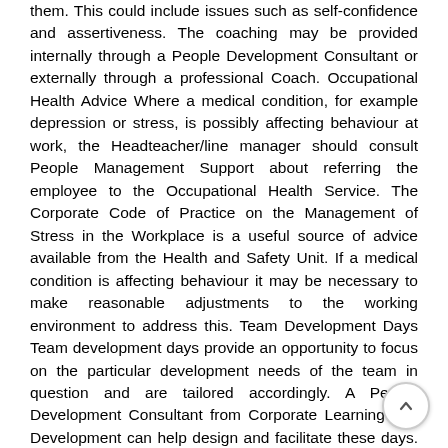them. This could include issues such as self-confidence and assertiveness. The coaching may be provided internally through a People Development Consultant or externally through a professional Coach. Occupational Health Advice Where a medical condition, for example depression or stress, is possibly affecting behaviour at work, the Headteacher/line manager should consult People Management Support about referring the employee to the Occupational Health Service. The Corporate Code of Practice on the Management of Stress in the Workplace is a useful source of advice available from the Health and Safety Unit. If a medical condition is affecting behaviour it may be necessary to make reasonable adjustments to the working environment to address this. Team Development Days Team development days provide an opportunity to focus on the particular development needs of the team in question and are tailored accordingly. A People Development Consultant from Corporate Learning and Development can help design and facilitate these days. Understanding Individual and Team Behaviour There are a range of tools that can give an insight into the natural preferences and behaviour of the individuals in a team. These tools can help individuals and teams understand